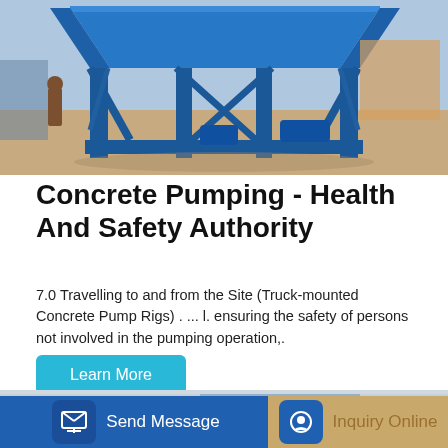[Figure (photo): Large blue industrial concrete pump rig/hopper structure on a construction yard, with a worker standing nearby. Steel blue frame and chute equipment visible outdoors.]
Concrete Pumping - Health And Safety Authority
7.0 Travelling to and from the Site (Truck-mounted Concrete Pump Rigs) . ... l. ensuring the safety of persons not involved in the pumping operation,.
Learn More
[Figure (photo): Partial bottom image showing construction/pumping equipment, partially obscured by the bottom navigation bar.]
Send Message
Inquiry Online